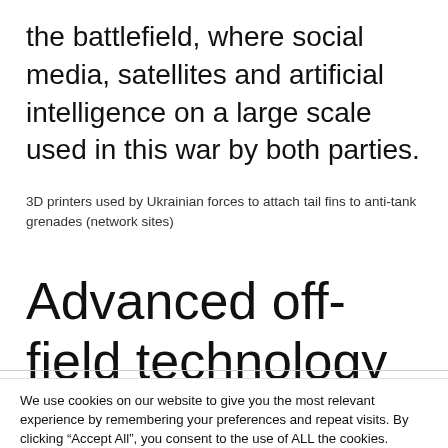the battlefield, where social media, satellites and artificial intelligence on a large scale used in this war by both parties.
3D printers used by Ukrainian forces to attach tail fins to anti-tank grenades (network sites)
Advanced off-field technology
We use cookies on our website to give you the most relevant experience by remembering your preferences and repeat visits. By clicking “Accept All”, you consent to the use of ALL the cookies. However, you may visit "Cookie Settings" to provide a controlled consent.